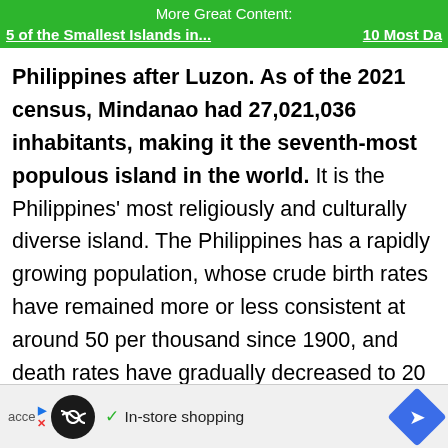More Great Content:
5 of the Smallest Islands in...   10 Most Da
Philippines after Luzon. As of the 2021 census, Mindanao had 27,021,036 inhabitants, making it the seventh-most populous island in the world. It is the Philippines’ most religiously and culturally diverse island. The Philippines has a rapidly growing population, whose crude birth rates have remained more or less consistent at around 50 per thousand since 1900, and death rates have gradually decreased to 20 per thousand. If the current pace of population growth continues unabated, and evidence shows it will
acce... In-store shopping